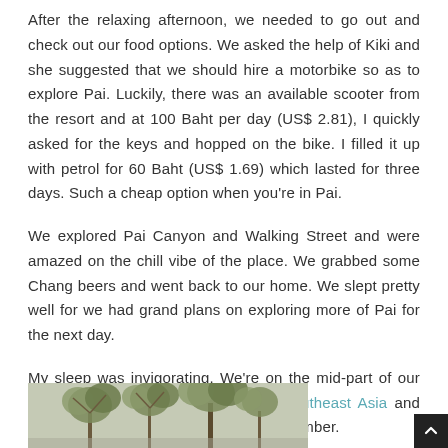After the relaxing afternoon, we needed to go out and check out our food options. We asked the help of Kiki and she suggested that we should hire a motorbike so as to explore Pai. Luckily, there was an available scooter from the resort and at 100 Baht per day (US$ 2.81), I quickly asked for the keys and hopped on the bike. I filled it up with petrol for 60 Baht (US$ 1.69) which lasted for three days. Such a cheap option when you're in Pai.
We explored Pai Canyon and Walking Street and were amazed on the chill vibe of the place. We grabbed some Chang beers and went back to our home. We slept pretty well for we had grand plans on exploring more of Pai for the next day.
My sleep was invigorating. We're on the mid-part of our two-month backpacking trip around Southeast Asia and I've already mastered the art of deep slumber.
[Figure (photo): Partial photo of trees/plants, partially visible at bottom of page]